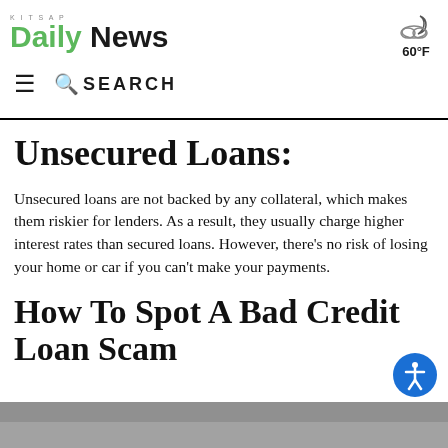KITSAP Daily News — 60°F — Search bar
Unsecured Loans:
Unsecured loans are not backed by any collateral, which makes them riskier for lenders. As a result, they usually charge higher interest rates than secured loans. However, there's no risk of losing your home or car if you can't make your payments.
How To Spot A Bad Credit Loan Scam
[Figure (photo): Bottom strip photograph, partially visible]